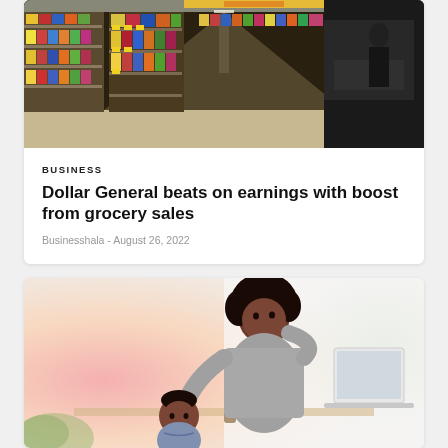[Figure (photo): Interior of a Dollar General store showing colorful product shelves with a customer in the background]
BUSINESS
Dollar General beats on earnings with boost from grocery sales
Businesshala  -  August 26, 2022
[Figure (photo): A Black woman holding a baby while working at a laptop computer, with a soft pink and green background]